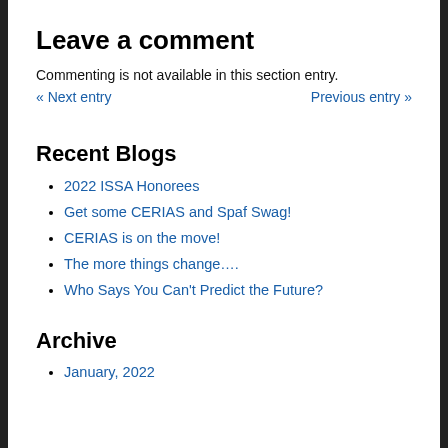Leave a comment
Commenting is not available in this section entry.
« Next entry    Previous entry »
Recent Blogs
2022 ISSA Honorees
Get some CERIAS and Spaf Swag!
CERIAS is on the move!
The more things change….
Who Says You Can't Predict the Future?
Archive
January, 2022